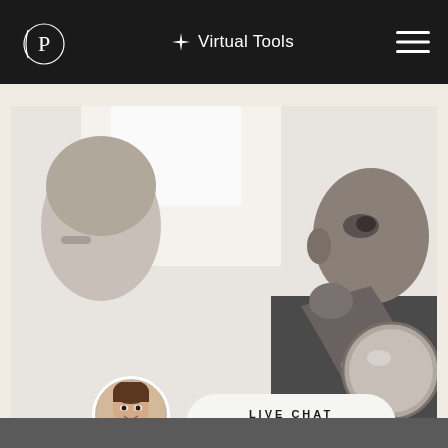[Figure (logo): Circular logo with stylized letter P in a thin circle, white on dark background]
Virtual Tools
[Figure (photo): Black and white photo of a medical consultation scene: a patient holding a small round mirror to their face while a doctor or consultant observes. A female medical professional avatar appears in lower portion with a Live Chat button.]
LIVE CHAT